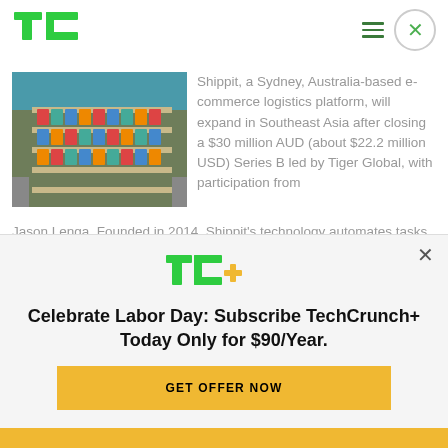[Figure (logo): TechCrunch TC logo in green]
[Figure (photo): Aerial view of a shipping port with colorful cargo containers and docks]
Shippit, a Sydney, Australia-based e-commerce logistics platform, will expand in Southeast Asia after closing a $30 million AUD (about $22.2 million USD) Series B led by Tiger Global, with participation from Jason Lenga. Founded in 2014, Shippit's technology automates tasks related to order fulfillment, including finding the best carrier for an order, tracking packages and
Continue reading
[Figure (logo): TC+ logo with green TC and gold plus sign]
Celebrate Labor Day: Subscribe TechCrunch+ Today Only for $90/Year.
GET OFFER NOW